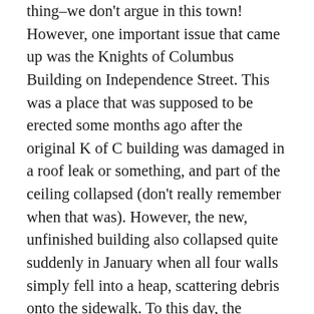thing–we don't argue in this town! However, one important issue that came up was the Knights of Columbus Building on Independence Street. This was a place that was supposed to be erected some months ago after the original K of C building was damaged in a roof leak or something, and part of the ceiling collapsed (don't really remember when that was). However, the new, unfinished building also collapsed quite suddenly in January when all four walls simply fell into a heap, scattering debris onto the sidewalk. To this day, the sidewalk is still inaccessible. Cleanup hasn't even been attempted, and it seems the contracting company can't be communicated with. K of C people say the contractors have 15 days to get moving, but if they don't, cleanup will still definitely happen within 30 days.